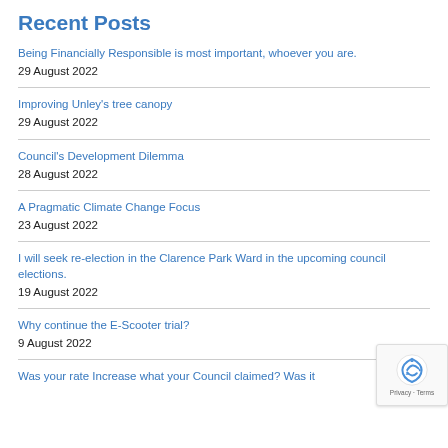Recent Posts
Being Financially Responsible is most important, whoever you are.
29 August 2022
Improving Unley's tree canopy
29 August 2022
Council's Development Dilemma
28 August 2022
A Pragmatic Climate Change Focus
23 August 2022
I will seek re-election in the Clarence Park Ward in the upcoming council elections.
19 August 2022
Why continue the E-Scooter trial?
9 August 2022
Was your rate Increase what your Council claimed? Was it